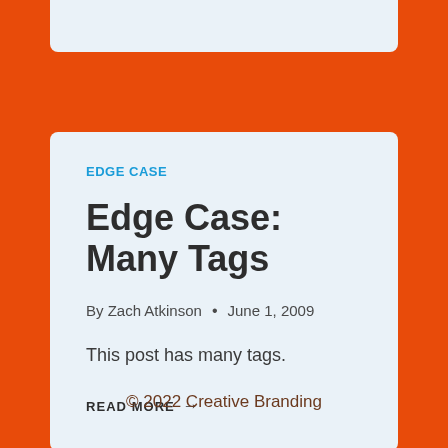EDGE CASE
Edge Case: Many Tags
By Zach Atkinson • June 1, 2009
This post has many tags.
READ MORE →
© 2022 Creative Branding